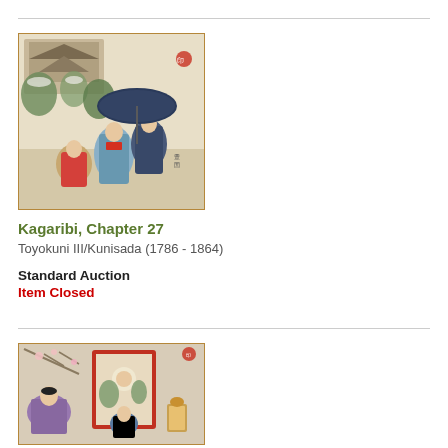[Figure (illustration): Japanese woodblock print showing women in kimonos walking with an umbrella near a temple building in a snowy landscape. Bordered with golden-brown frame.]
Kagaribi, Chapter 27
Toyokuni III/Kunisada (1786 - 1864)
Standard Auction
Item Closed
[Figure (illustration): Japanese woodblock print showing courtly figures seated in an interior scene with decorative screens and floral elements. Bordered with golden-brown frame.]